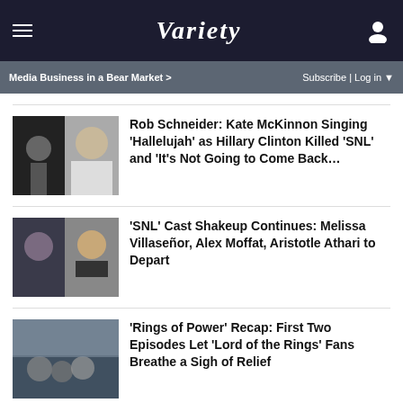VARIETY
Media Business in a Bear Market >  Subscribe | Log in
Rob Schneider: Kate McKinnon Singing 'Hallelujah' as Hillary Clinton Killed 'SNL' and 'It's Not Going to Come Back...
'SNL' Cast Shakeup Continues: Melissa Villaseñor, Alex Moffat, Aristotle Athari to Depart
'Rings of Power' Recap: First Two Episodes Let 'Lord of the Rings' Fans Breathe a Sigh of Relief
[Figure (screenshot): Advertisement banner: SPY-TESTED MASSAGE GUN NOW JUST $79]